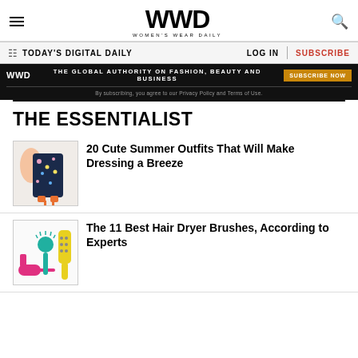WWD — Women's Wear Daily
TODAY'S DIGITAL DAILY   LOG IN   SUBSCRIBE
[Figure (screenshot): WWD advertisement banner: black background, WWD logo, text 'THE GLOBAL AUTHORITY ON FASHION, BEAUTY AND BUSINESS', orange 'SUBSCRIBE NOW' button, and subscript 'By subscribing, you agree to our Privacy Policy and Terms of Use.']
THE ESSENTIALIST
[Figure (photo): Photo of summer outfits — a floral midi dress and orange heeled sandals]
20 Cute Summer Outfits That Will Make Dressing a Breeze
[Figure (photo): Photo of hair dryer brushes — pink, teal, and yellow styling tools]
The 11 Best Hair Dryer Brushes, According to Experts